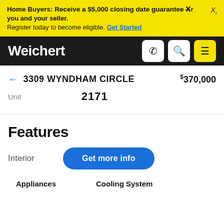Home Buyers: Receive a $5,000 closing date guarantee Xr you and your seller. Register today to become eligible. Get Started
Weichert
← 3309 WYNDHAM CIRCLE   $370,000
Unit   2171
Features
Interior   Get more info
Appliances   Cooling System